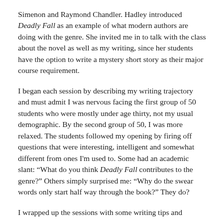Simenon and Raymond Chandler. Hadley introduced Deadly Fall as an example of what modern authors are doing with the genre. She invited me in to talk with the class about the novel as well as my writing, since her students have the option to write a mystery short story as their major course requirement.
I began each session by describing my writing trajectory and must admit I was nervous facing the first group of 50 students who were mostly under age thirty, not my usual demographic. By the second group of 50, I was more relaxed. The students followed my opening by firing off questions that were interesting, intelligent and somewhat different from ones I'm used to. Some had an academic slant: "What do you think Deadly Fall contributes to the genre?" Others simply surprised me: "Why do the swear words only start half way through the book?" They do?
I wrapped up the sessions with some writing tips and